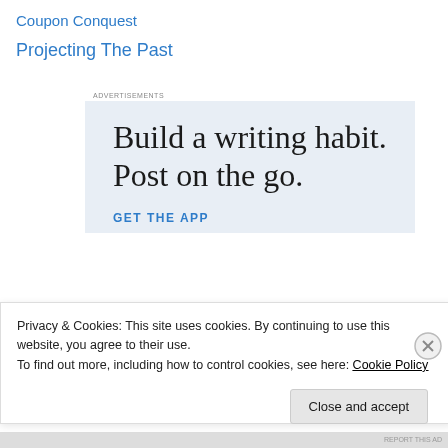Coupon Conquest
Projecting The Past
[Figure (screenshot): Advertisement banner with light blue background showing text 'Build a writing habit. Post on the go.' with a 'GET THE APP' call to action and WordPress logo]
Privacy & Cookies: This site uses cookies. By continuing to use this website, you agree to their use.
To find out more, including how to control cookies, see here: Cookie Policy
Close and accept